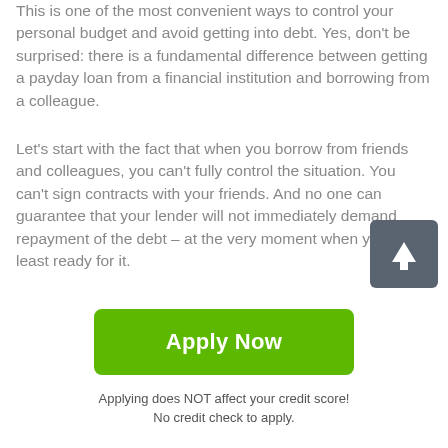This is one of the most convenient ways to control your personal budget and avoid getting into debt. Yes, don't be surprised: there is a fundamental difference between getting a payday loan from a financial institution and borrowing from a colleague.
Let's start with the fact that when you borrow from friends and colleagues, you can't fully control the situation. You can't sign contracts with your friends. And no one can guarantee that your lender will not immediately demand repayment of the debt – at the very moment when you are least ready for it.
Entirely another thing is the micro-loans service. Here can not only get the best 24 hour payday loans
[Figure (other): Dark grey rounded square button with white upward arrow icon (scroll-to-top button)]
Apply Now
Applying does NOT affect your credit score!
No credit check to apply.